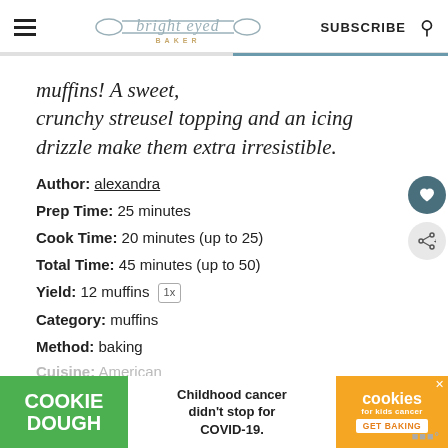bright eyed BAKER — SUBSCRIBE
muffins! A sweet, crunchy streusel topping and an icing drizzle make them extra irresistible.
Author: alexandra
Prep Time: 25 minutes
Cook Time: 20 minutes (up to 25)
Total Time: 45 minutes (up to 50)
Yield: 12 muffins 1x
Category: muffins
Method: baking
Cuisine: American
[Figure (infographic): Advertisement banner: COOKIE DOUGH / Childhood cancer didn't stop for COVID-19. / cookies for kids cancer GET BAKING]